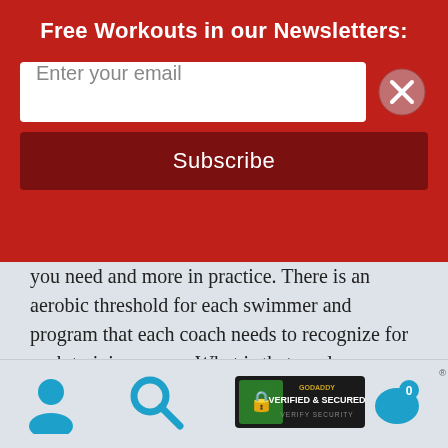Free Workouts in our Newsletters:
you need and more in practice. There is an aerobic threshold for each swimmer and program that each coach needs to recognize for each training group. What is that yardage number is yet to be determined and hasn't been studied enough yet? Once this yardage figure is reached the remainder of practice aerobically is useless. I would place the figure to be around 7,500 +/- yards per work-out. Once a swimmer is in aerobic shape and this can be determined by max heart rate sets based on time after the set is complete for a full recovery. The faster the recovery
GoDaddy Verified & Secured